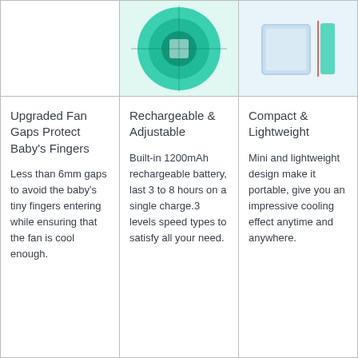[Figure (photo): Top image cell 1 - empty/blank]
[Figure (photo): Baby fan product image on teal/mint green background showing fan with circular guard]
[Figure (photo): Fan product side/dimension view on light blue background with red accent line]
Upgraded Fan Gaps Protect Baby's Fingers

Less than 6mm gaps to avoid the baby's tiny fingers entering while ensuring that the fan is cool enough.
Rechargeable & Adjustable

Built-in 1200mAh rechargeable battery, last 3 to 8 hours on a single charge.3 levels speed types to satisfy all your need.
Compact & Lightweight

Mini and lightweight design make it portable, give you an impressive cooling effect anytime and anywhere.